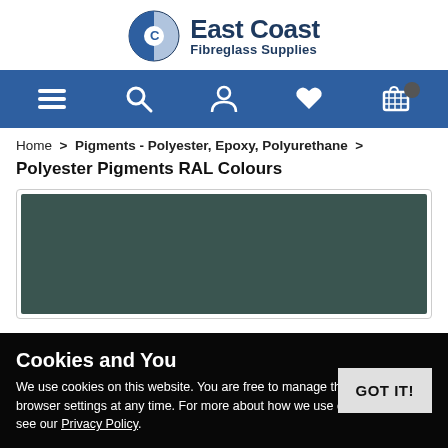[Figure (logo): East Coast Fibreglass Supplies logo with circular icon and text]
[Figure (screenshot): Navigation bar with menu, search, account, wishlist, and cart icons on blue background]
Home > Pigments - Polyester, Epoxy, Polyurethane >
Polyester Pigments RAL Colours
[Figure (photo): Dark teal/green colored product swatch image]
Cookies and You
We use cookies on this website. You are free to manage these via your browser settings at any time. For more about how we use cookies, please see our Privacy Policy.